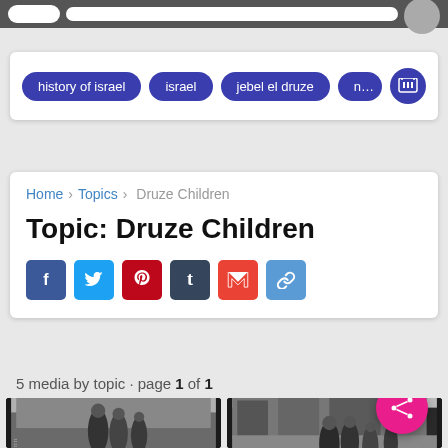history of israel
israel
jebel el druze
nitra
Home > Topics > Druze Children
Topic: Druze Children
5 media by topic · page 1 of 1
[Figure (photo): Black and white photograph of Druze children in a village setting]
[Figure (photo): Black and white photograph of Druze people standing in a village street]